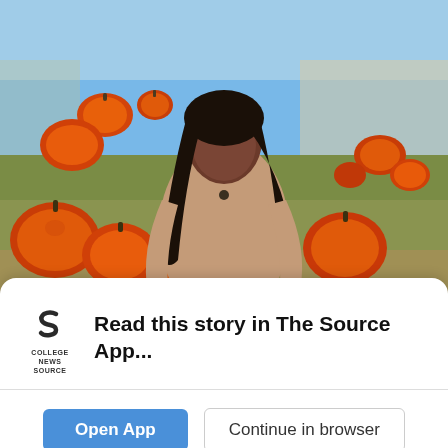[Figure (photo): A young woman with long braided hair sits among orange pumpkins at a pumpkin patch on a sunny day. She wears a tan ribbed turtleneck and distressed jeans. More pumpkins and a wooden fence are visible in the background under a blue sky.]
Read this story in The Source App...
COLLEGE NEWS SOURCE
Open App
Continue in browser